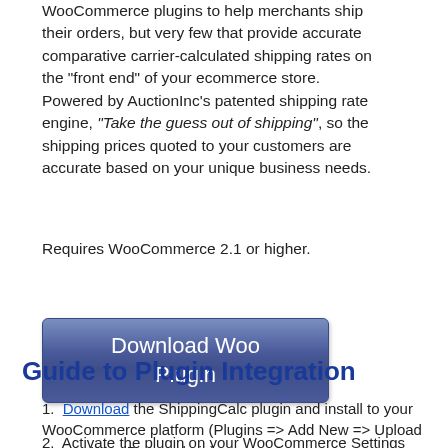WooCommerce plugins to help merchants ship their orders, but very few that provide accurate comparative carrier-calculated shipping rates on the "front end" of your ecommerce store.  Powered by AuctionInc's patented shipping rate engine, "Take the guess out of shipping", so the shipping prices quoted to your customers are accurate based on your unique business needs.
Requires WooCommerce 2.1 or higher.
[Figure (other): Blue gradient button labeled 'Download Woo Plugin']
Guide to Plugin Integration
Download the ShippingCalc plugin and install to your WooCommerce platform (Plugins => Add New => Upload in your WordPress admin).
Activate the plugin on your WooCommerce Settings Shipping